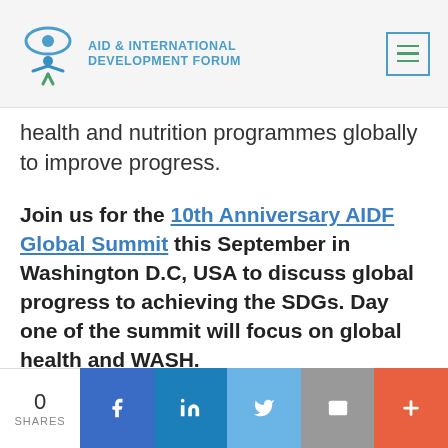AID & INTERNATIONAL DEVELOPMENT FORUM
health and nutrition programmes globally to improve progress.
Join us for the 10th Anniversary AIDF Global Summit this September in Washington D.C, USA to discuss global progress to achieving the SDGs. Day one of the summit will focus on global health and WASH.
If you'd like to stay informed on the latest